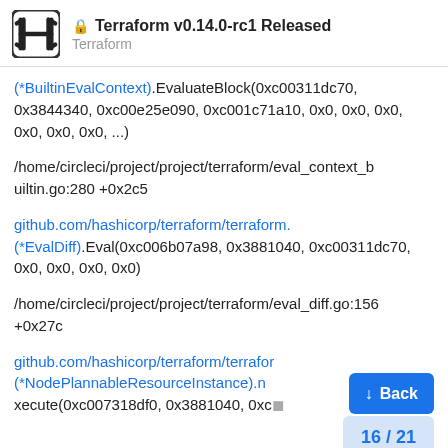Terraform v0.14.0-rc1 Released — Terraform
(*BuiltinEvalContext).EvaluateBlock(0xc00311dc70, 0x3844340, 0xc00e25e090, 0xc001c71a10, 0x0, 0x0, 0x0, 0x0, 0x0, 0x0, ...)
/home/circleci/project/project/terraform/eval_context_builtin.go:280 +0x2c5
github.com/hashicorp/terraform/terraform.(*EvalDiff).Eval(0xc006b07a98, 0x3881040, 0xc00311dc70, 0x0, 0x0, 0x0, 0x0)
/home/circleci/project/project/terraform/eval_diff.go:156 +0x27c
github.com/hashicorp/terraform/terraform.(*NodePlannableResourceInstance).n
xecute(0xc007318df0, 0x3881040, 0xc(